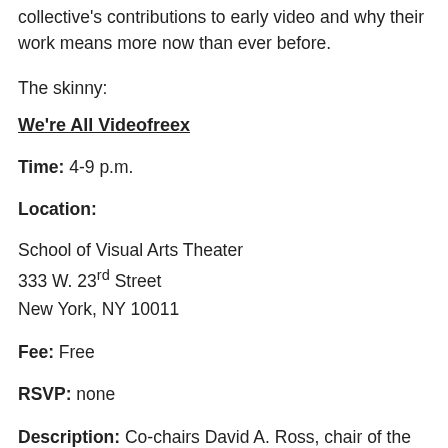collective's contributions to early video and why their work means more now than ever before.
The skinny:
We're All Videofreex
Time: 4-9 p.m.
Location:
School of Visual Arts Theater
333 W. 23rd Street
New York, NY 10011
Fee: Free
RSVP: none
Description: Co-chairs David A. Ross, chair of the SVA